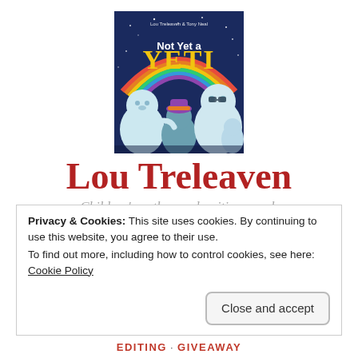[Figure (illustration): Book cover of 'Not Yet a Yeti' by Lou Treleaven and Tony Neal, featuring cartoon yeti characters on a dark blue background with a rainbow arc and yellow title text.]
Lou Treleaven
Children's author and writing coach
Privacy & Cookies: This site uses cookies. By continuing to use this website, you agree to their use.
To find out more, including how to control cookies, see here: Cookie Policy
EDITING · GIVEAWAY